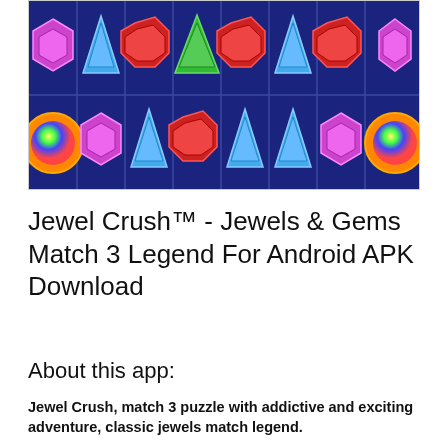[Figure (screenshot): Screenshot of Jewel Crush game showing a grid of colorful gems and jewels including purple, blue triangles, red octagons, green triangles, and rainbow orbs on a dark blue background]
Jewel Crush™ - Jewels & Gems Match 3 Legend For Android APK Download
About this app:
Jewel Crush, match 3 puzzle with addictive and exciting adventure, classic jewels match legend.
Match and quest jewels in fun gameplay to complete the mission goals■.
It has a beautiful and cute gamestyle, ideal for girls to play with their families and to share interesting experiences about jewels.